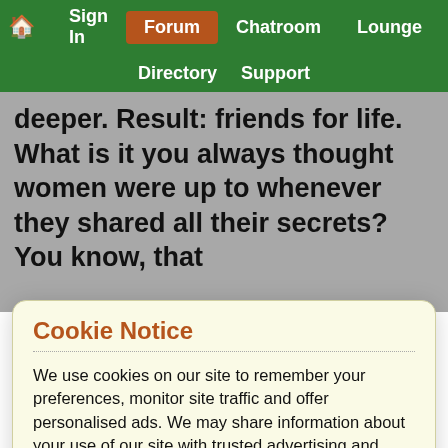🏠 Sign In | Forum | Chatroom | Lounge | Directory | Support
deeper. Result: friends for life. What is it you always thought women were up to whenever they shared all their secrets? You know, that
Cookie Notice
We use cookies on our site to remember your preferences, monitor site traffic and offer personalised ads. We may share information about your use of our site with trusted advertising and analytics partners. By clicking 'Accept and continue' you consent to our use of cookies in accordance with your preferences which can be reviewed / updated at any time via our Privacy Policy.
Accept and continue